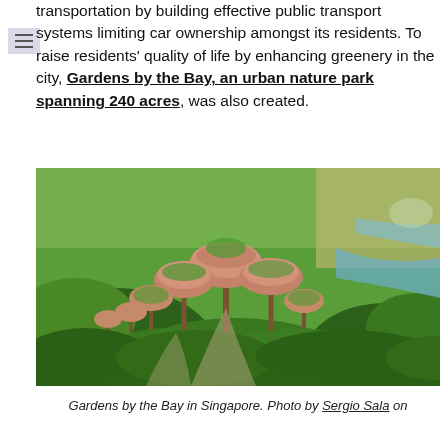transportation by building effective public transport systems limiting car ownership amongst its residents. To raise residents' quality of life by enhancing greenery in the city, Gardens by the Bay, an urban nature park spanning 240 acres, was also created.
[Figure (photo): Aerial photograph of Gardens by the Bay in Singapore, showing the iconic Supertree Grove structures surrounded by lush greenery, with waterways visible in the background.]
Gardens by the Bay in Singapore. Photo by Sergio Sala on